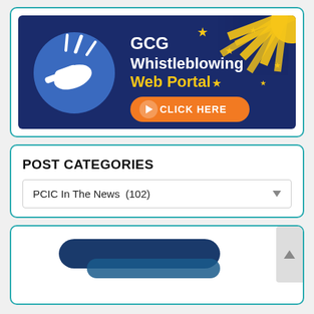[Figure (illustration): GCG Whistleblowing Web Portal banner. Dark navy background with a whistle icon in a blue circle on the left, text 'GCG Whistleblowing Web Portal' in white and yellow, decorative stars and sunburst in yellow on the right, and an orange 'CLICK HERE' button with arrow icon.]
POST CATEGORIES
PCIC In The News  (102)
[Figure (logo): Partial view of a logo or image in dark navy/teal blue, showing what appears to be a stylized shape, partially cut off at the bottom of the page.]